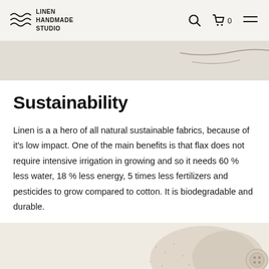LINEN HANDMADE STUDIO
[Figure (photo): Hero image strip — beige/tan textured background with faint dark curved lines, partial top of image visible]
Sustainability
Linen is a a hero of all natural sustainable fabrics, because of it's low impact. One of the main benefits is that flax does not require intensive irrigation in growing and so it needs 60 % less water, 18 % less energy, 5 times less fertilizers and pesticides to grow compared to cotton. It is biodegradable and durable.
[Figure (photo): Bottom image strip — light beige background with textured linen fabric and a round button visible on the right side]